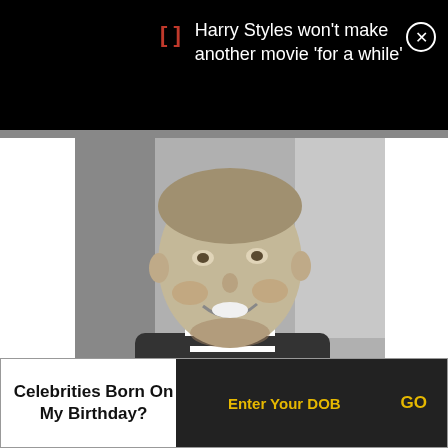Harry Styles won't make another movie 'for a while'
[Figure (photo): Black and white portrait photo of a young man with a buzz cut, smiling, wearing a jacket with striped collar]
Celebrities Born On My Birthday?
Enter Your DOB
GO